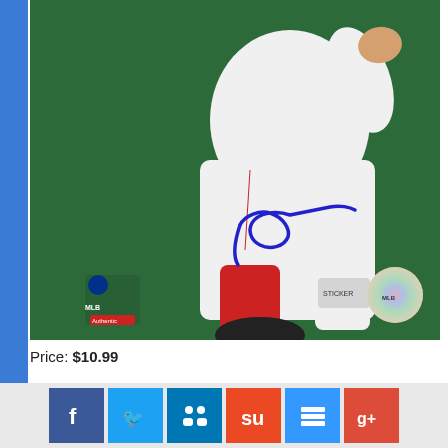[Figure (photo): A baseball pitcher in white uniform with red socks and cleats in a wind-up pose against green background. The photo has a blue autograph signature and MLB hologram stickers at the bottom.]
Price: $10.99
Add to cart
[Figure (infographic): Social media sharing bar with Facebook, Twitter, LinkedIn, StumbleUpon, Delicious, and Google+ icons]